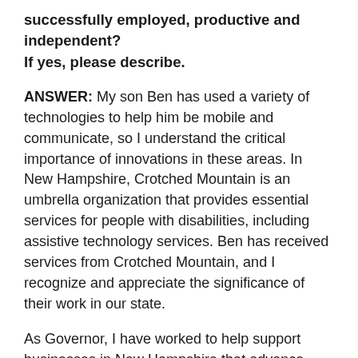successfully employed, productive and independent? If yes, please describe.
ANSWER: My son Ben has used a variety of technologies to help him be mobile and communicate, so I understand the critical importance of innovations in these areas. In New Hampshire, Crotched Mountain is an umbrella organization that provides essential services for people with disabilities, including assistive technology services. Ben has received services from Crotched Mountain, and I recognize and appreciate the significance of their work in our state.
As Governor, I have worked to help support businesses in New Hampshire that advance these assistive technologies and other innovations, cutting taxes for research and development and supporting start-ups through a variety of initiatives. In the Senate, I will continue working to support innovation by expanding